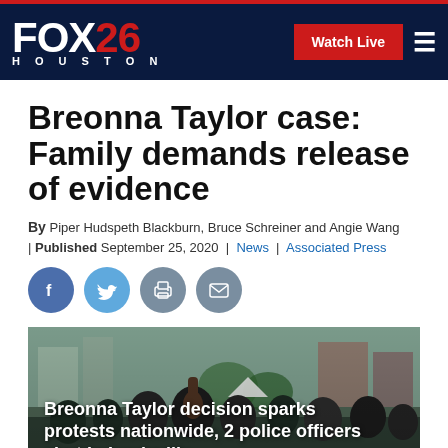FOX 26 HOUSTON | Watch Live
Breonna Taylor case: Family demands release of evidence
By Piper Hudspeth Blackburn, Bruce Schreiner and Angie Wang | Published September 25, 2020 | News | Associated Press
[Figure (screenshot): Social share icons: Facebook, Twitter, Print, Email]
[Figure (photo): Crowd scene at protest with video overlay text: Breonna Taylor decision sparks protests nationwide, 2 police officers shot in Louisville]